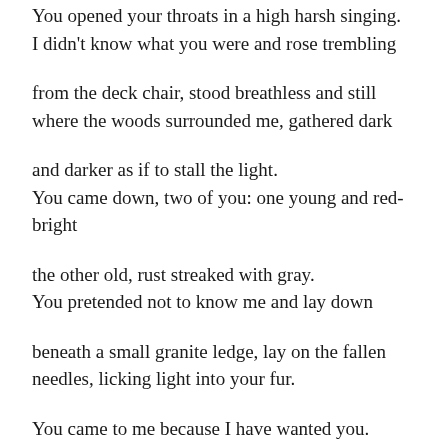You opened your throats in a high harsh singing.
I didn't know what you were and rose trembling

from the deck chair, stood breathless and still
where the woods surrounded me, gathered dark

and darker as if to stall the light.
You came down, two of you: one young and red-
bright

the other old, rust streaked with gray.
You pretended not to know me and lay down

beneath a small granite ledge, lay on the fallen
needles, licking light into your fur.

You came to me because I have wanted you.
You came though I had asked for nothing,

because you will fall asleep and I will...